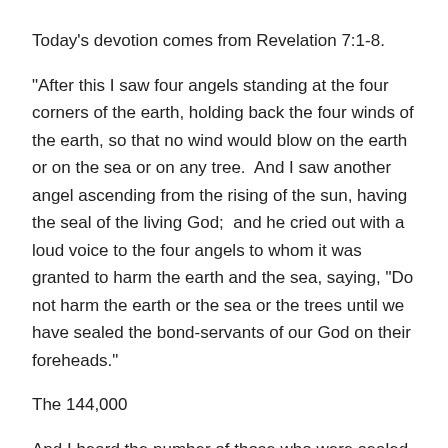Today's devotion comes from Revelation 7:1-8.
“After this I saw four angels standing at the four corners of the earth, holding back the four winds of the earth, so that no wind would blow on the earth or on the sea or on any tree.  And I saw another angel ascending from the rising of the sun, having the seal of the living God;  and he cried out with a loud voice to the four angels to whom it was granted to harm the earth and the sea, saying, “Do not harm the earth or the sea or the trees until we have sealed the bond-servants of our God on their foreheads.”
The 144,000
And I heard the number of those who were sealed, one hundred and forty-four thousand sealed from every tribe of the sons of Israel: